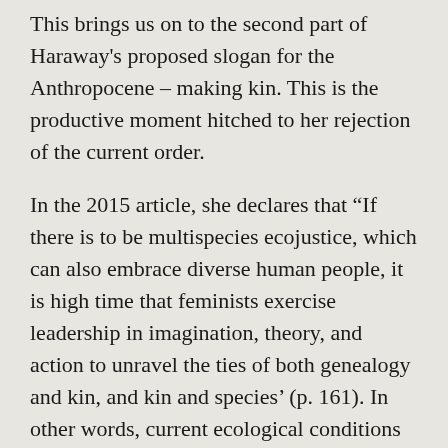This brings us on to the second part of Haraway's proposed slogan for the Anthropocene – making kin. This is the productive moment hitched to her rejection of the current order.
In the 2015 article, she declares that “If there is to be multispecies ecojustice, which can also embrace diverse human people, it is high time that feminists exercise leadership in imagination, theory, and action to unravel the ties of both genealogy and kin, and kin and species’ (p. 161). In other words, current ecological conditions demand a feminism that practices ‘better care of kinds-assemblages (not species one at a time)” (Haraway, 2015: p. 162), and one which prompts us to rethink the existences and relationships that